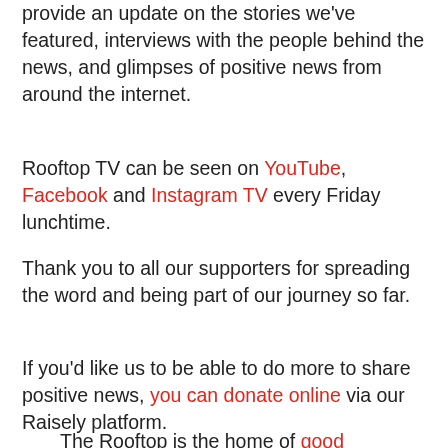in time, the weekly episodes will grow to provide an update on the stories we've featured, interviews with the people behind the news, and glimpses of positive news from around the internet.
Rooftop TV can be seen on YouTube, Facebook and Instagram TV every Friday lunchtime.
Thank you to all our supporters for spreading the word and being part of our journey so far.
If you'd like us to be able to do more to share positive news, you can donate online via our Raisely platform.
The Rooftop is the home of good